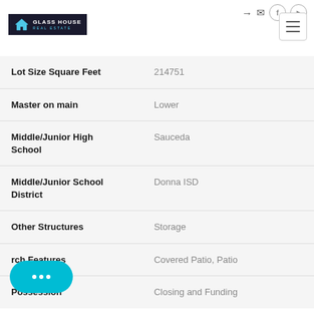[Figure (logo): Glass House Real Estate logo — dark background with house icon and text]
| Property Feature | Value |
| --- | --- |
| Lot Size Square Feet | 214751 |
| Master on main | Lower |
| Middle/Junior High School | Sauceda |
| Middle/Junior School District | Donna ISD |
| Other Structures | Storage |
| Porch Features | Covered Patio, Patio |
| Possession | Closing and Funding |